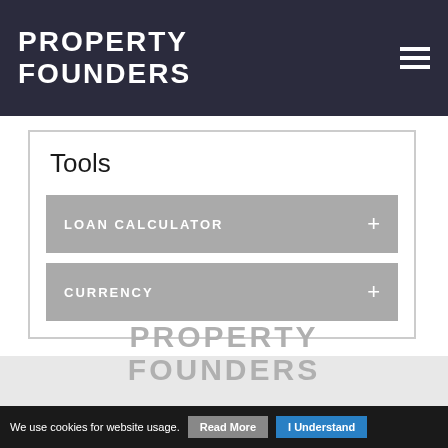PROPERTY FOUNDERS
Tools
LOAN CALCULATOR
CURRENCY
[Figure (logo): Property Founders logo in gray at footer]
We use cookies for website usage. Read More | I Understand